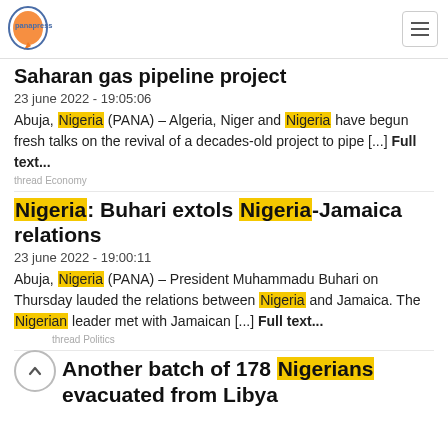panapress
Saharan gas pipeline project
23 june 2022 - 19:05:06
Abuja, Nigeria (PANA) – Algeria, Niger and Nigeria have begun fresh talks on the revival of a decades-old project to pipe [...] Full text...
thread Economy
Nigeria: Buhari extols Nigeria-Jamaica relations
23 june 2022 - 19:00:11
Abuja, Nigeria (PANA) – President Muhammadu Buhari on Thursday lauded the relations between Nigeria and Jamaica. The Nigerian leader met with Jamaican [...] Full text...
thread Politics
Another batch of 178 Nigerians evacuated from Libya